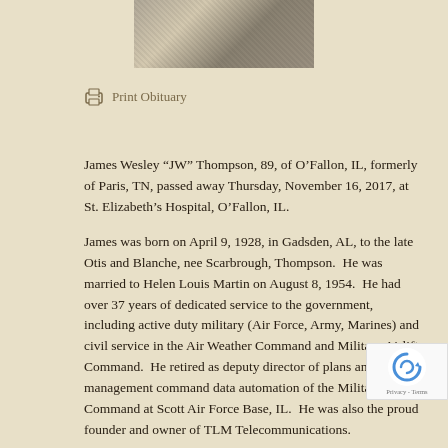[Figure (photo): Partial portrait photo of a person, cropped at top of page]
Print Obituary
James Wesley “JW” Thompson, 89, of O’Fallon, IL, formerly of Paris, TN, passed away Thursday, November 16, 2017, at St. Elizabeth’s Hospital, O’Fallon, IL.
James was born on April 9, 1928, in Gadsden, AL, to the late Otis and Blanche, nee Scarbrough, Thompson.  He was married to Helen Louis Martin on August 8, 1954.  He had over 37 years of dedicated service to the government, including active duty military (Air Force, Army, Marines) and civil service in the Air Weather Command and Military Airlift Command.  He retired as deputy director of plans and management command data automation of the Military Airlift Command at Scott Air Force Base, IL.  He was also the proud founder and owner of TLM Telecommunications.
“If there be any truer measure of a man than by what he does, it must be by what he gives.”  He loved his family with all his heart and was loved just as much in return.  He was an avid golfer, loved playing dice game “4-5-6”, and enjoyed traveling the world over the course of his life and the lives of many others and all the adventures...